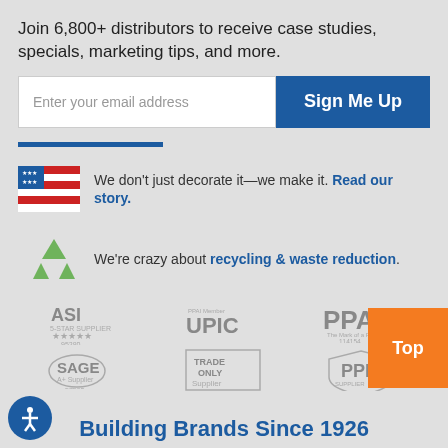Join 6,800+ distributors to receive case studies, specials, marketing tips, and more.
[Figure (screenshot): Email signup form with text input and Sign Me Up button]
[Figure (logo): US flag icon with text: We don't just decorate it—we make it. Read our story.]
[Figure (logo): Recycling icon with text: We're crazy about recycling & waste reduction.]
[Figure (logo): Industry logos: ASI 5-Star Supplier 95280, SAGE A+ Supplier 57590, PPAI Member UPIC, Trade Only Supplier, PPAI 114154, PPD Supplier]
Building Brands Since 1926